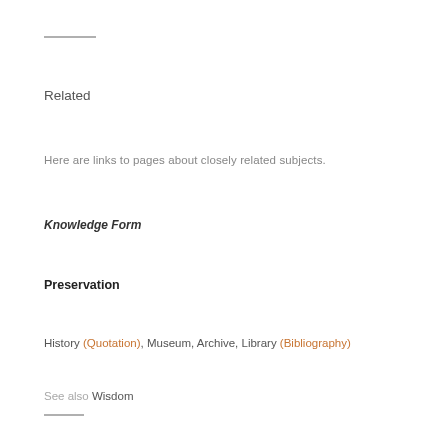Related
Here are links to pages about closely related subjects.
Knowledge Form
Preservation
History (Quotation), Museum, Archive, Library (Bibliography)
See also Wisdom